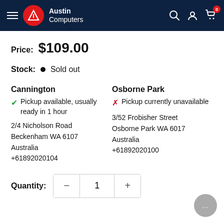[Figure (logo): Austin Computers website header with hamburger menu, red circular logo with A symbol, Austin Computers text, and search/account/cart icons on navy background]
Price: $109.00
Stock: • Sold out
Cannington
✓ Pickup available, usually ready in 1 hour
2/4 Nicholson Road
Beckenham WA 6107
Australia
+61892020104
Osborne Park
✗ Pickup currently unavailable
3/52 Frobisher Street
Osborne Park WA 6017
Australia
+61892020100
Quantity: 1